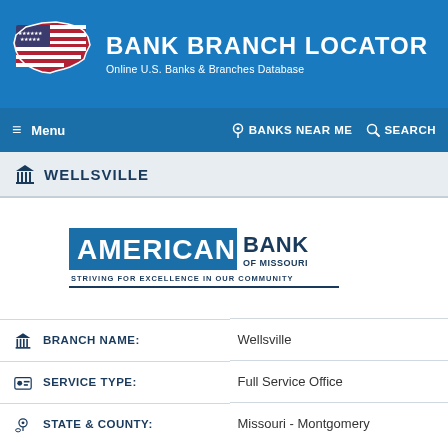[Figure (logo): Bank Branch Locator website header with US flag-styled map logo, title 'BANK BRANCH LOCATOR' and subtitle 'Online U.S. Banks & Branches Database' on blue background]
Menu | BANKS NEAR ME | SEARCH
WELLSVILLE
[Figure (logo): American Bank of Missouri logo — 'AMERICAN' in white on blue rectangle, 'BANK OF MISSOURI' in dark text, 'STRIVING FOR EXCELLENCE IN OUR COMMUNITY' tagline below, with dark blue underline]
| BRANCH NAME: | Wellsville |
| SERVICE TYPE: | Full Service Office |
| STATE & COUNTY: | Missouri - Montgomery |